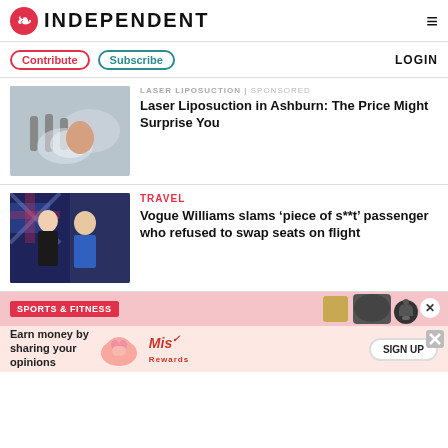INDEPENDENT
Contribute  Subscribe  LOGIN
LASER LIPOSUCTION | Sponsored
Laser Liposuction in Ashburn: The Price Might Surprise You
[Figure (photo): Woman receiving laser liposuction treatment in a medical clinic]
TRAVEL
Vogue Williams slams ‘piece of s**t’ passenger who refused to swap seats on flight
[Figure (photo): Vogue Williams and Spencer Matthews posing at an event in front of a British flag backdrop]
SPORTS & FITNESS
Earn money by sharing your opinions  SIGN UP